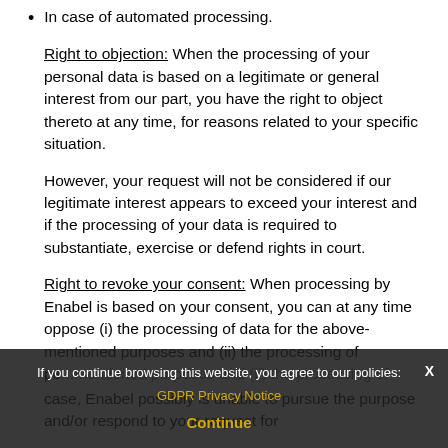In case of automated processing.
Right to objection: When the processing of your personal data is based on a legitimate or general interest from our part, you have the right to object thereto at any time, for reasons related to your specific situation.
However, your request will not be considered if our legitimate interest appears to exceed your interest and if the processing of your data is required to substantiate, exercise or defend rights in court.
Right to revoke your consent: When processing by Enabel is based on your consent, you can at any time oppose (i) the processing of data for the above-mentioned purposes and (ii) the processing of pe...case, Enabel possibly is unable to pursue the purpose and/or respond to your request for
If you continue browsing this website, you agree to our policies: GDPR Privacy Notice
Continue